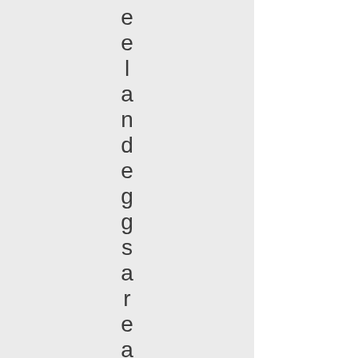e e l a n d e g g s a r e a d d e d